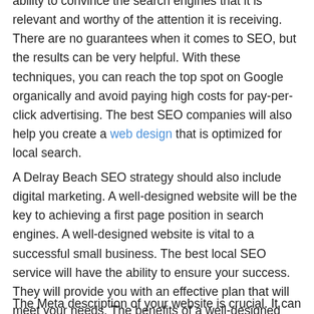ability to convince the search engines that it is relevant and worthy of the attention it is receiving. There are no guarantees when it comes to SEO, but the results can be very helpful. With these techniques, you can reach the top spot on Google organically and avoid paying high costs for pay-per-click advertising. The best SEO companies will also help you create a web design that is optimized for local search.
A Delray Beach SEO strategy should also include digital marketing. A well-designed website will be the key to achieving a first page position in search engines. A well-designed website is vital to a successful small business. The best local SEO service will have the ability to ensure your success. They will provide you with an effective plan that will meet your needs. The benefits of a well-designed website are priceless.
The Meta description of your website is crucial. It can make or